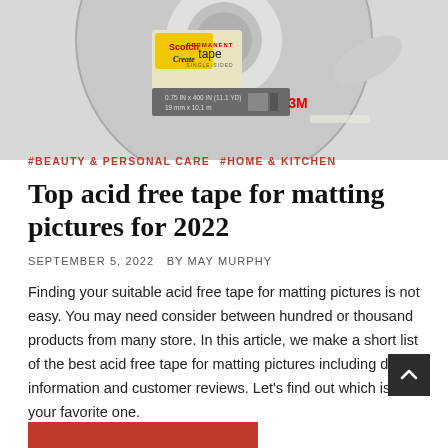[Figure (photo): Scotch Create permanent tape product on a dispenser, 0.75 IN x 400 IN (11.1 YD) / 19 mm x 10.1 m, single-sided, 3M brand]
#BEAUTY & PERSONAL CARE  #HOME & KITCHEN
Top acid free tape for matting pictures for 2022
SEPTEMBER 5, 2022   BY MAY MURPHY
Finding your suitable acid free tape for matting pictures is not easy. You may need consider between hundred or thousand products from many store. In this article, we make a short list of the best acid free tape for matting pictures including detail information and customer reviews. Let's find out which is your favorite one.